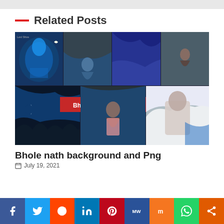Related Posts
[Figure (photo): Collage of Bholenath background images with a red banner text 'Bholenath Background' overlaid in the center. Images show Lord Shiva artwork, people with blue fabric, and a Shiva statue.]
Bhole nath background and Png
July 19, 2021
f  Twitter  Reddit  in  Pinterest  MW  Mix  WhatsApp  Share